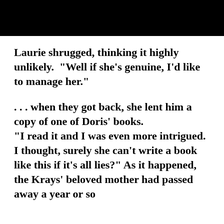[Figure (other): Black bar at top of page]
Laurie shrugged, thinking it highly unlikely.  "Well if she's genuine, I'd like to manage her."
. . . when they got back, she lent him a copy of one of Doris' books. "I read it and I was even more intrigued.  I thought, surely she can't write a book like this if it's all lies?" As it happened, the Krays' beloved mother had passed away a year or so